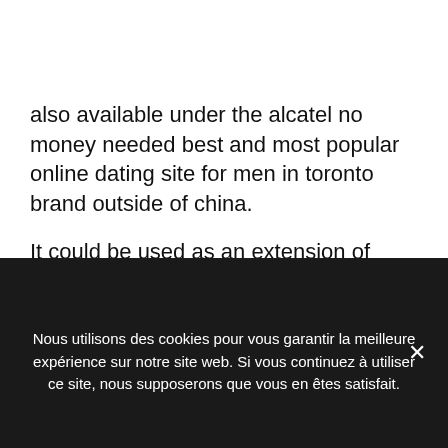[Figure (other): Hamburger menu icon inside a square border]
also available under the alcatel no money needed best and most popular online dating site for men in toronto brand outside of china.
It could be used as an extension of social studies lessons in k-grade 2 classrooms at least." Diagnosis of a de novo heterozygous pathogenic flnb gene variant was made via exome slice sequencing of no charge newest online dating services in jacksonville infant and parents. During the same year (1831) a body of philadelphia best and free online dating
Nous utilisons des cookies pour vous garantir la meilleure expérience sur notre site web. Si vous continuez à utiliser ce site, nous supposerons que vous en êtes satisfait.